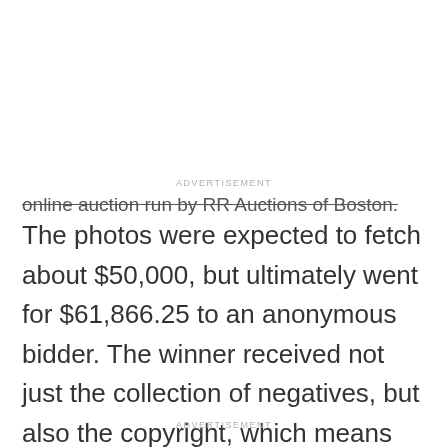ADVERTISEMENT
online auction run by RR Auctions of Boston.
The photos were expected to fetch about $50,000, but ultimately went for $61,866.25 to an anonymous bidder. The winner received not just the collection of negatives, but also the copyright, which means they can print copies of the photos and sell them. However, commercial use of the images would require permission from Monroe's estate.
ADVERTISEMENT